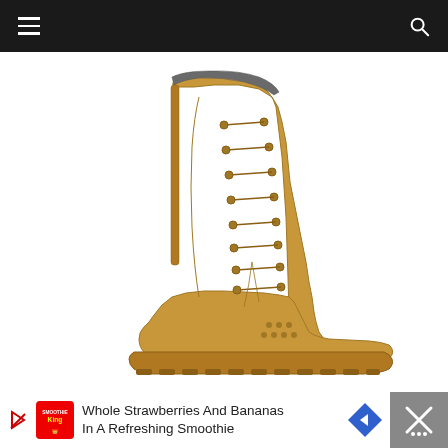Navigation header with hamburger menu and search icon
[Figure (photo): Side view of a tan/coyote brown military tactical combat boot with lace-up front, side zipper, and aggressive rubber lug sole. The boot is tall with ventilation holes on the toe box area.]
[Figure (infographic): Advertisement banner: Smoothie King logo with text 'Whole Strawberries And Bananas In A Refreshing Smoothie', blue navigation arrow icon, and close button with X mark on dark background]